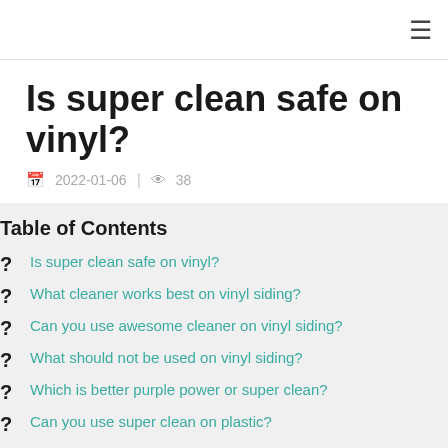≡
Is super clean safe on vinyl?
2022-01-06  |  38
Table of Contents
Is super clean safe on vinyl?
What cleaner works best on vinyl siding?
Can you use awesome cleaner on vinyl siding?
What should not be used on vinyl siding?
Which is better purple power or super clean?
Can you use super clean on plastic?
How do you clean vinyl siding without scrubbing?